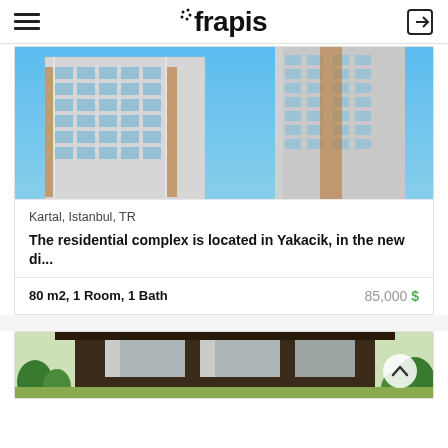frapis
[Figure (photo): Exterior photo of modern high-rise residential towers with blue sky background, white and brown facade, balconies]
Kartal, Istanbul, TR
The residential complex is located in Yakacik, in the new di...
80 m2, 1 Room, 1 Bath
85,000 $
[Figure (photo): Partial view of a luxury villa or house with dark wood facade, large windows, tropical greenery, partially visible at bottom of page]